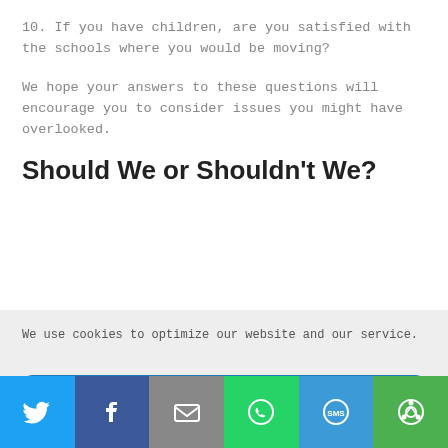10. If you have children, are you satisfied with the schools where you would be moving?
We hope your answers to these questions will encourage you to consider issues you might have overlooked.
Should We or Shouldn't We?
We use cookies to optimize our website and our service.
Accept cookies
Deny
View preferences
[Figure (other): Social sharing bar with icons for Twitter, Facebook, Email, WhatsApp, SMS, and Share]